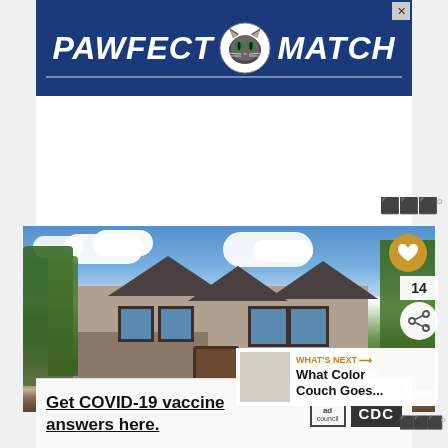[Figure (other): PAWFECT MATCH advertisement banner with cat icon on blue background]
[Figure (photo): Exterior photo of a large craftsman-style house with stone facade, multiple gables, surrounded by trees under a blue sky with clouds]
14
WHAT'S NEXT → What Color Couch Goes...
[Figure (other): COVID-19 vaccine advertisement with ad council and CDC logos. Text: Get COVID-19 vaccine answers here.]